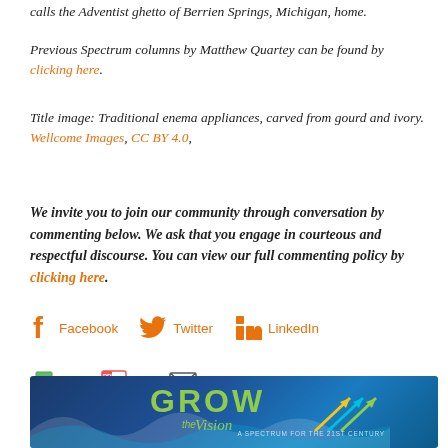calls the Adventist ghetto of Berrien Springs, Michigan, home.
Previous Spectrum columns by Matthew Quartey can be found by clicking here.
Title image: Traditional enema appliances, carved from gourd and ivory. Wellcome Images, CC BY 4.0,
We invite you to join our community through conversation by commenting below. We ask that you engage in courteous and respectful discourse. You can view our full commenting policy by clicking here.
Facebook  Twitter  LinkedIn
Print  PDF  Email
[Figure (infographic): GROW the Vision banner — A Spectrum for the 21st Century promotional banner with blue gradient background, green GROW text, cursive Vision subtitle, directional arrows, and wave design.]